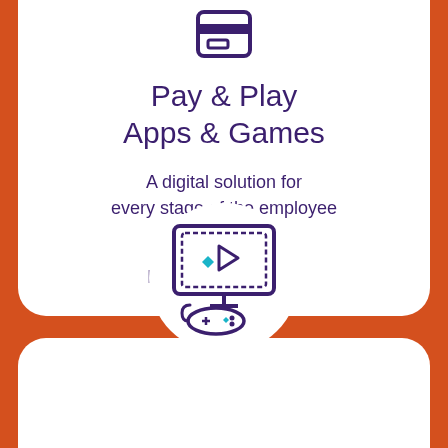[Figure (illustration): Purple icon of a card/payment symbol at top of white card]
Pay & Play Apps & Games
A digital solution for every stage of the employee lifecycle.
Find Out More →
[Figure (illustration): Purple icon of a monitor/screen with a game controller, with a teal/blue diamond shape, shown in a white circle on the orange background above the bottom card]